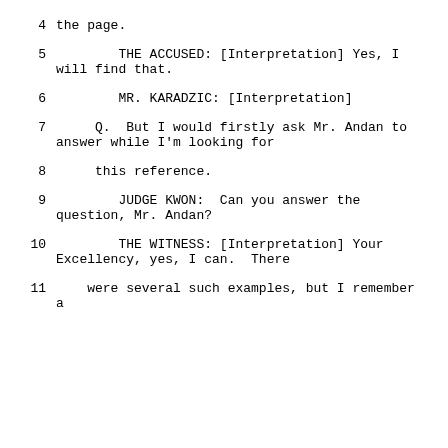4    the page.
5         THE ACCUSED: [Interpretation] Yes, I will find that.
6         MR. KARADZIC: [Interpretation]
7      Q.  But I would firstly ask Mr. Andan to answer while I'm looking for
8      this reference.
9         JUDGE KWON:  Can you answer the question, Mr. Andan?
10         THE WITNESS: [Interpretation] Your Excellency, yes, I can.  There
11     were several such examples, but I remember a